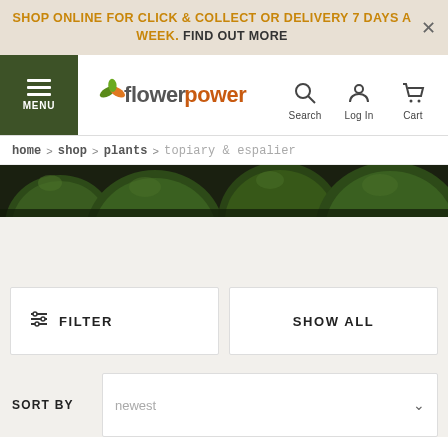SHOP ONLINE FOR CLICK & COLLECT OR DELIVERY 7 DAYS A WEEK. FIND OUT MORE
[Figure (logo): Flower Power logo with orange and green leaf icon]
home > shop > plants > topiary & espalier
[Figure (photo): Hero image of green topiary ball bushes]
FILTER
SHOW ALL
SORT BY  newest